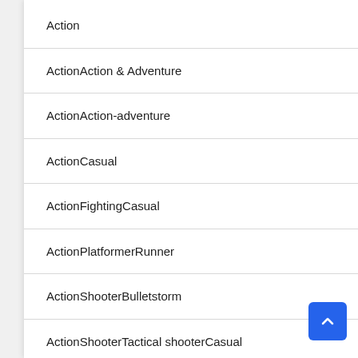Action
ActionAction & Adventure
ActionAction-adventure
ActionCasual
ActionFightingCasual
ActionPlatformerRunner
ActionShooterBulletstorm
ActionShooterTactical shooterCasual
Adventure